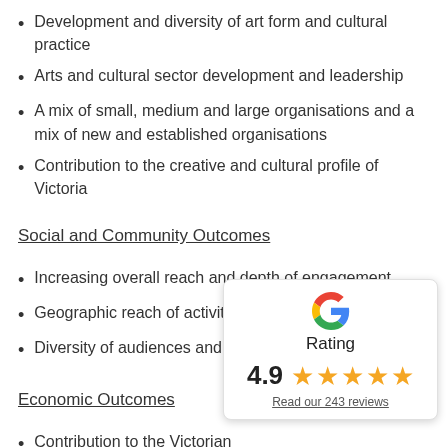Development and diversity of art form and cultural practice
Arts and cultural sector development and leadership
A mix of small, medium and large organisations and a mix of new and established organisations
Contribution to the creative and cultural profile of Victoria
Social and Community Outcomes
Increasing overall reach and depth of engagement
Geographic reach of activity
Diversity of audiences and participants
Economic Outcomes
Contribution to the Victorian
Financial growth and sustain sector